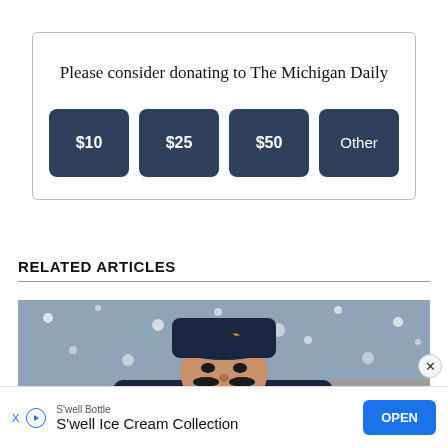Please consider donating to The Michigan Daily
$10 | $25 | $50 | Other
RELATED ARTICLES
[Figure (photo): A person wearing a navy blue knit hat with a Jordan logo looking upward in snowy conditions, with black eye black on their cheeks]
S'well Bottle  S'well Ice Cream Collection  OPEN